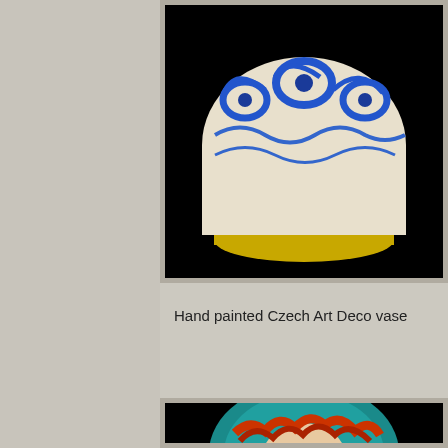[Figure (photo): Photo of a hand painted Czech Art Deco vase with blue swirl patterns on a white/cream body with a yellow base, against a dark black background. Only the upper portion of the vase is visible, showing the decorative blue scrollwork and curves.]
Hand painted Czech Art Deco vase
[Figure (photo): Photo of a ceramic figurine showing a face with closed eyes, red/orange wavy hair or headpiece, and a teal/turquoise circular background or halo, against a black background. Appears to be a decorative Art Deco or Czech pottery piece featuring a stylized female face.]